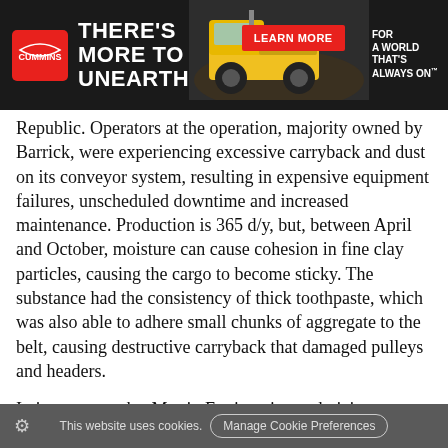[Figure (illustration): Cummins advertisement banner: dark background with Cummins logo, text 'THERE'S MORE TO UNEARTH', a yellow mining truck, a red 'LEARN MORE' button, and tagline 'FOR A WORLD THAT'S ALWAYS ON']
Republic. Operators at the operation, majority owned by Barrick, were experiencing excessive carryback and dust on its conveyor system, resulting in expensive equipment failures, unscheduled downtime and increased maintenance. Production is 365 d/y, but, between April and October, moisture can cause cohesion in fine clay particles, causing the cargo to become sticky. The substance had the consistency of thick toothpaste, which was also able to adhere small chunks of aggregate to the belt, causing destructive carryback that damaged pulleys and headers.
In just two weeks, Martin Engineering technicians replaced the existing belt scrapers at 16 locations with
This website uses cookies.  Manage Cookie Preferences